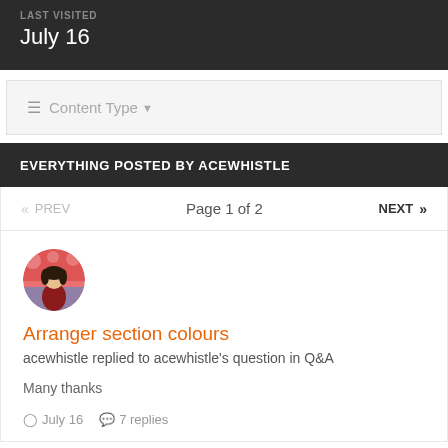LAST VISITED
July 16
≡ Content Type ▾
EVERYTHING POSTED BY ACEWHISTLE
«  PREV    Page 1 of 2    NEXT  »
[Figure (illustration): Circular avatar image of an anime-style character with pink/red tones and floral background]
Arranger section colours
acewhistle replied to acewhistle's question in Q&A
Many thanks
⊙ July 16   💬 7 replies